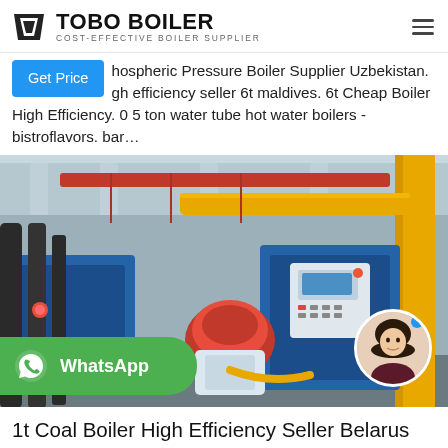TOBO BOILER — COST-EFFECTIVE BOILER SUPPLIER
hospheric Pressure Boiler Supplier Uzbekistan. Get Price gh efficiency seller 6t maldives. 6t Cheap Boiler High Efficiency. 0 5 ton water tube hot water boilers - bistroflavors. bar...
[Figure (photo): Industrial boiler room with yellow and red pipes overhead, blue boiler units with control panels, red burner components, and a WhatsApp overlay button. A circular avatar of a woman appears in the bottom right corner.]
1t Coal Boiler High Efficiency Seller Belarus